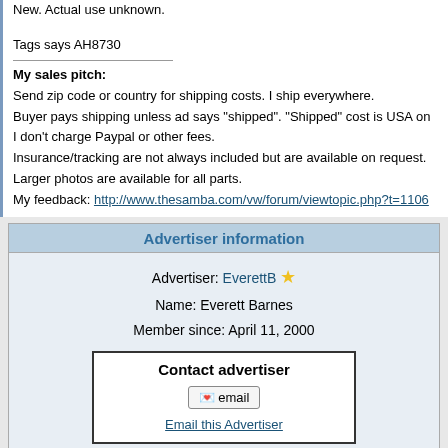New. Actual use unknown.
Tags says AH8730
My sales pitch:
Send zip code or country for shipping costs. I ship everywhere.
Buyer pays shipping unless ad says "shipped". "Shipped" cost is USA only.
I don't charge Paypal or other fees.
Insurance/tracking are not always included but are available on request.
Larger photos are available for all parts.
My feedback: http://www.thesamba.com/vw/forum/viewtopic.php?t=1106...
Advertiser information
Advertiser: EverettB
Name: Everett Barnes
Member since: April 11, 2000
Contact advertiser
email
Email this Advertiser
ads  profile  feedback
Watch this seller
Other ads
See all | See a...